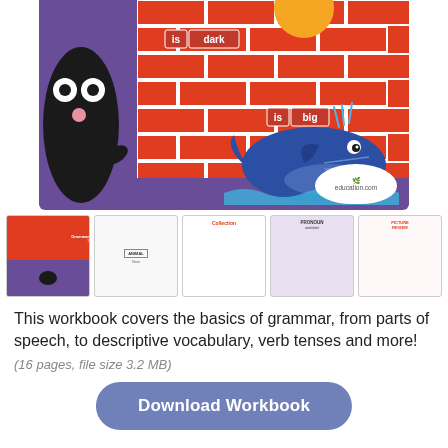[Figure (illustration): Children's grammar workbook cover showing a brick wall background with a whale and dark creature, text labels 'is dark' and 'is big', sun, and education.com logo. Below are 5 thumbnail preview pages of the workbook.]
This workbook covers the basics of grammar, from parts of speech, to descriptive vocabulary, verb tenses and more!
(16 pages, file size 3.2 MB)
Download Workbook